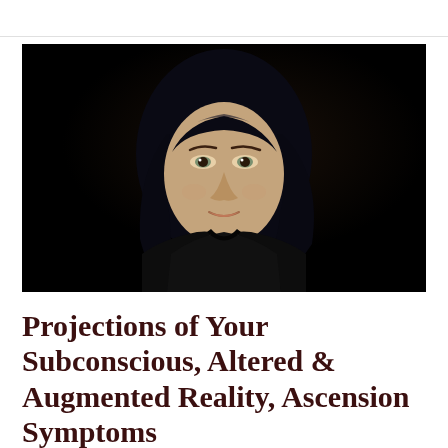[Figure (photo): Portrait photo of a woman with long dark hair wearing a black jacket, against a black background, looking toward the camera with a slight smile.]
Projections of Your Subconscious, Altered & Augmented Reality, Ascension Symptoms